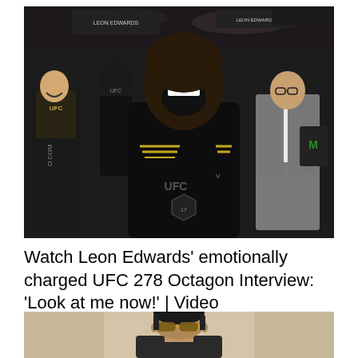[Figure (photo): Leon Edwards celebrating after UFC 278 victory in the octagon, wearing a black UFC/Venum fight kit, mouth open in celebration, surrounded by corner team members, UFC branding visible]
Watch Leon Edwards' emotionally charged UFC 278 Octagon Interview: 'Look at me now!' | Video
[Figure (photo): Man with short dark hair wearing gold-framed aviator sunglasses, photographed from shoulders up against a beige/tan background]